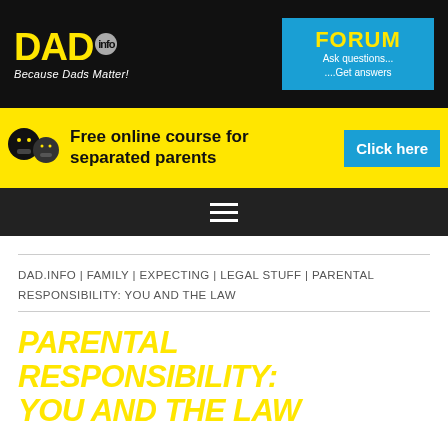DAD.info — Because Dads Matter!
[Figure (screenshot): DAD.info website header with yellow logo on black background and blue FORUM box on right]
[Figure (infographic): Yellow banner: Free online course for separated parents — Click here button]
DAD.INFO | FAMILY | EXPECTING | LEGAL STUFF | PARENTAL RESPONSIBILITY: YOU AND THE LAW
PARENTAL RESPONSIBILITY: YOU AND THE LAW
mattz118